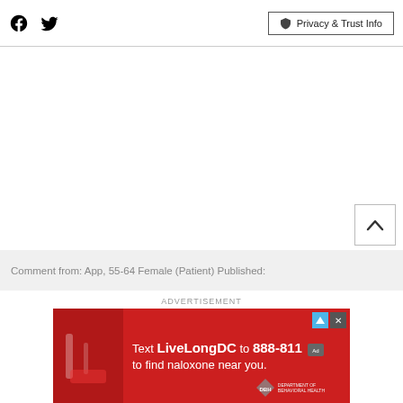Facebook  Twitter  Privacy & Trust Info
Comment from: App, 55-64 Female (Patient) Published:
ADVERTISEMENT
[Figure (other): Red advertisement banner: Text LiveLongDC to 888-811 to find naloxone near you. DBH logo. Close and ad triangle buttons visible.]